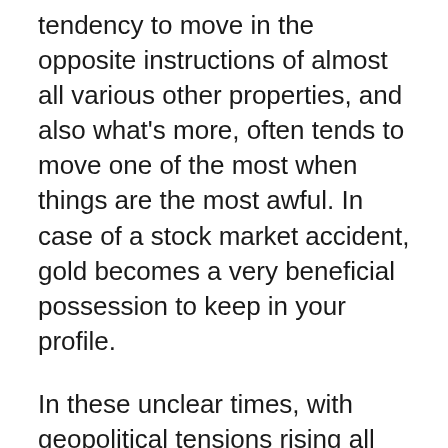tendency to move in the opposite instructions of almost all various other properties, and also what's more, often tends to move one of the most when things are the most awful. In case of a stock market accident, gold becomes a very beneficial possession to keep in your profile.
In these unclear times, with geopolitical tensions rising all over the world, unknowns such as migrations and water shortages due to worldwide warming as well as environment adjustment, supply chain uncertainties due to a worldwide pandemic, political instability, and fears of a misestimated stock market, gold is merely the best to hedge against all of these threats.